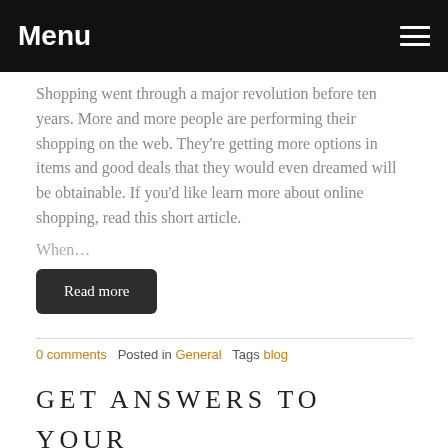Menu
Shopping went through a major revolution before ten years. More and more people are performing their shopping on the web. They're getting more options in items and good deals that they would even dreamed will be obtainable. If you'd like learn more about online shopping, read this short article.
When…
Read more
0 comments   Posted in General   Tags blog
GET ANSWERS TO YOUR VIDEO GAME QUESTIONS RIGHT RIGHT HERE